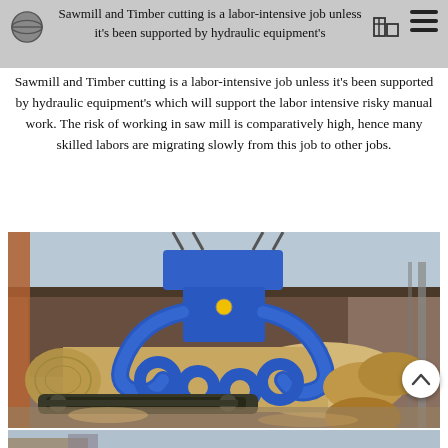Sawmill and Timber cutting is a labor-intensive job unless it's been supported by hydraulic equipment's which will support the labor intensive risky manual work.
Sawmill and Timber cutting is a labor-intensive job unless it's been supported by hydraulic equipment's which will support the labor intensive risky manual work. The risk of working in saw mill is comparatively high, hence many skilled labors are migrating slowly from this job to other jobs.
[Figure (photo): A blue hydraulic log grapple/claw machine gripping a large timber log at a sawmill yard, with industrial buildings and stacked logs visible in the background.]
[Figure (photo): Partial view of another sawmill scene at the bottom of the page.]